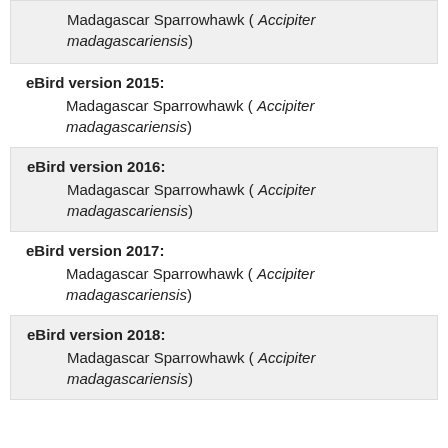Madagascar Sparrowhawk ( Accipiter madagascariensis)
eBird version 2015:
Madagascar Sparrowhawk ( Accipiter madagascariensis)
eBird version 2016:
Madagascar Sparrowhawk ( Accipiter madagascariensis)
eBird version 2017:
Madagascar Sparrowhawk ( Accipiter madagascariensis)
eBird version 2018:
Madagascar Sparrowhawk ( Accipiter madagascariensis)